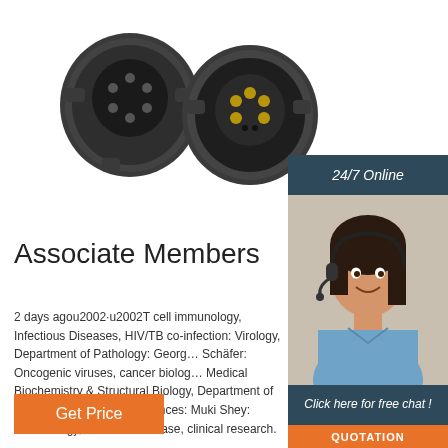[Figure (photo): Two black circular electrical/trailer connectors photographed from above on white background]
[Figure (photo): Customer service woman wearing headset, smiling, with 24/7 Online banner, Click here for free chat, and QUOTATION button overlay]
Associate Members
2 days agou2002·u2002T cell immunology, Infectious Diseases, HIV/TB co-infection: Virology, Department of Pathology: Georg… Schäfer: Oncogenic viruses, cancer biolog… Medical Biochemistry & Structural Biology, Department of Integrative Biomedical Sciences: Muki Shey: Immunology, infectious disease, clinical research.
[Figure (other): Orange Get Price button]